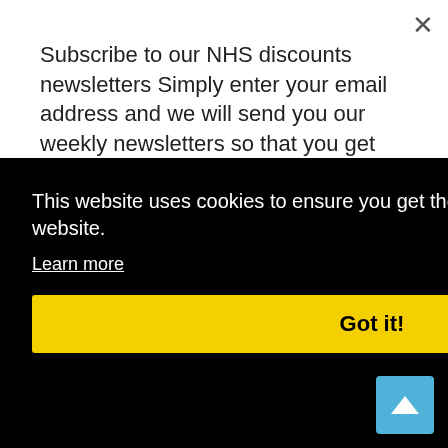Subscribe to our NHS discounts newsletters Simply enter your email address and we will send you our weekly newsletters so that you get access to the best NHS
Yes, please!
Domestic Electrical work. Rewires New fuse boards Extra sockets and lighting Alarms Testing & Certificates PAT
This website uses cookies to ensure you get the best experience on our website.
Learn more
Got it!